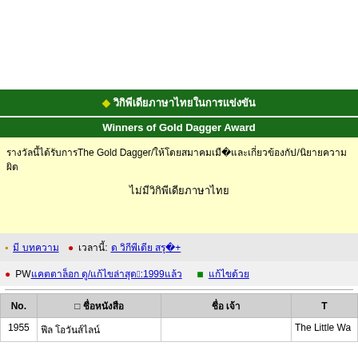◆ Winners of Gold Dagger Award (Thai characters)
Winners of Gold Dagger Award
Thai text about The Gold Dagger / 1955 ...
(Thai centered text)
▪ Thai link  ● Thai label: Thai link 100+
● PW Thai link / Thai text 10:1999 Thai  ■ Thai link
| No. | □ □□□ | □ □ | T |
| --- | --- | --- | --- |
| 1955 | □□□ □□□□□□□□ |  | The Little Wa... |